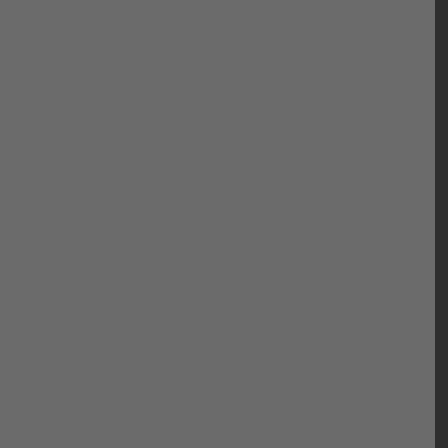Gears of War Single Player Game
Added: 2006-11-07 | Downloads: 4,268
Gears of War Cinematic Trailer
Added: 2006-10-25 | Downloads: 4,424
Gears of War Emergence Trailer
Added: 2006-10-10 | Downloads: 4,064
Gears of War Locusts Trailer
Added: 2006-10-10 | Downloads: 4,222
Gears of War Coalition Trailer
Added: 2006-10-10 | Downloads: 4,270
Gears of War Marcus Trailer
Added: 2006-10-10 | Downloads: 4,092
Gears of War Trailer
Added: 2006-05-01 | Downloads: 4,481
Game Cheats
Gears of War Cheats